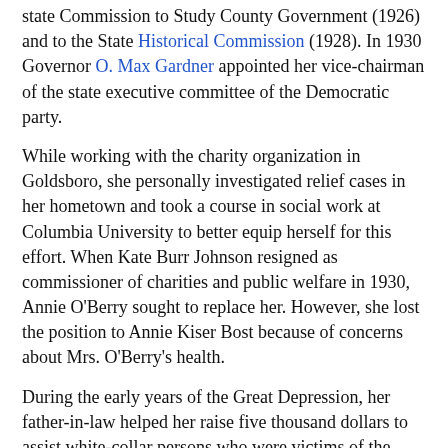state Commission to Study County Government (1926) and to the State Historical Commission (1928). In 1930 Governor O. Max Gardner appointed her vice-chairman of the state executive committee of the Democratic party.
While working with the charity organization in Goldsboro, she personally investigated relief cases in her hometown and took a course in social work at Columbia University to better equip herself for this effort. When Kate Burr Johnson resigned as commissioner of charities and public welfare in 1930, Annie O'Berry sought to replace her. However, she lost the position to Annie Kiser Bost because of concerns about Mrs. O'Berry's health.
During the early years of the Great Depression, her father-in-law helped her raise five thousand dollars to assist white-collar persons who were victims of the depression but not destitute enough for regular relief. Because of this work and her important political connections, Governor J. C. B. Ehringhaus, in August 1933, chose her to head the new North Carolina Emergency Relief Administration, created by the Federal Emergency Relief Administration, and he appointed her one of the...